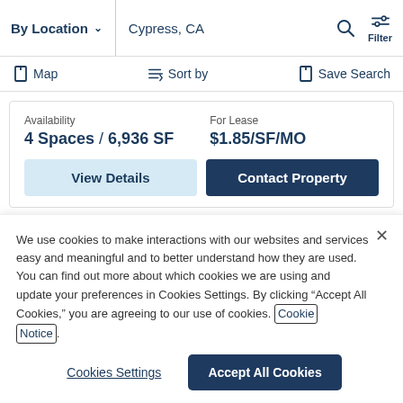By Location  Cypress, CA  Filter
Map  Sort by  Save Search
Availability  4 Spaces / 6,936 SF  For Lease  $1.85/SF/MO
View Details  Contact Property
We use cookies to make interactions with our websites and services easy and meaningful and to better understand how they are used. You can find out more about which cookies we are using and update your preferences in Cookies Settings. By clicking “Accept All Cookies,” you are agreeing to our use of cookies. Cookie Notice.
Cookies Settings  Accept All Cookies